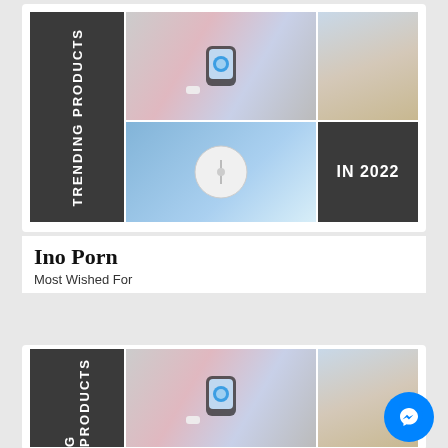[Figure (infographic): Trending Products collage: dark grey panel with 'TRENDING PRODUCTS' vertical text, smartwatch/wireless charger photo, wireless charger disc photo, 'IN 2022' dark panel, woman in sweater photo]
Ino Porn
Most Wished For
[Figure (infographic): Second trending products collage (partial): dark panel with 'G PRODUCTS' vertical text, smartwatch/wireless charger photo, woman in sweater photo, Messenger chat bubble overlay]